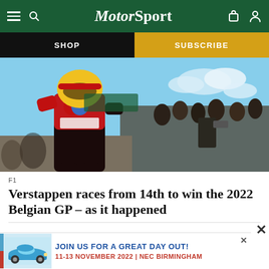MotorSport
SHOP
SUBSCRIBE
[Figure (photo): Formula 1 driver in Red Bull Oracle racing suit and helmet standing in front of media photographers, Spa Belgian GP 2022]
F1
Verstappen races from 14th to win the 2022 Belgian GP – as it happened
[Figure (photo): Advertisement banner: JOIN US FOR A GREAT DAY OUT! 11-13 NOVEMBER 2022 | NEC BIRMINGHAM, featuring a classic Porsche 911]